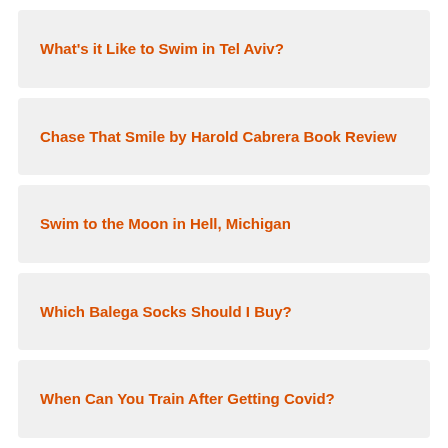What's it Like to Swim in Tel Aviv?
Chase That Smile by Harold Cabrera Book Review
Swim to the Moon in Hell, Michigan
Which Balega Socks Should I Buy?
When Can You Train After Getting Covid?